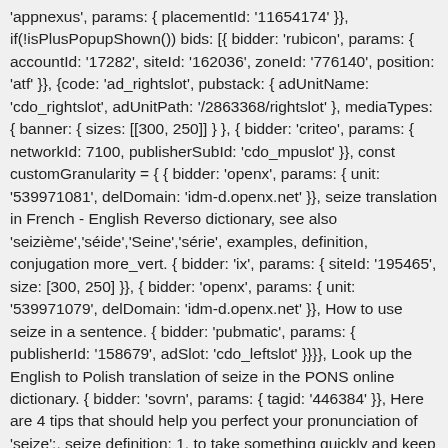'appnexus', params: { placementId: '11654174' }}, if(!isPlusPopupShown()) bids: [{ bidder: 'rubicon', params: { accountId: '17282', siteId: '162036', zoneId: '776140', position: 'atf' }}, {code: 'ad_rightslot', pubstack: { adUnitName: 'cdo_rightslot', adUnitPath: '/2863368/rightslot' }, mediaTypes: { banner: { sizes: [[300, 250]] } }, { bidder: 'criteo', params: { networkId: 7100, publisherSubId: 'cdo_mpuslot' }}, const customGranularity = { { bidder: 'openx', params: { unit: '539971081', delDomain: 'idm-d.openx.net' }}, seize translation in French - English Reverso dictionary, see also 'seizième','séide','Seine','série', examples, definition, conjugation more_vert. { bidder: 'ix', params: { siteId: '195465', size: [300, 250] }}, { bidder: 'openx', params: { unit: '539971079', delDomain: 'idm-d.openx.net' }}, How to use seize in a sentence. { bidder: 'pubmatic', params: { publisherId: '158679', adSlot: 'cdo_leftslot' }}}}, Look up the English to Polish translation of seize in the PONS online dictionary. { bidder: 'sovrn', params: { tagid: '446384' }}, Here are 4 tips that should help you perfect your pronunciation of 'seize':. seize definition: 1. to take something quickly and keep or hold it: 2. to take using sudden